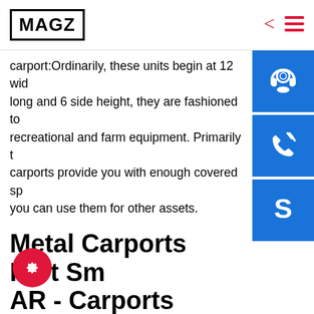MAGZ
carport:Ordinarily, these units begin at 12 wide, long and 6 side height, they are fashioned to recreational and farm equipment. Primarily the carports provide you with enough covered space you can use them for other assets.
Metal Carports Fort Smith AR - Carports Metal Garages
At US Metal Garages we offer the best carports in Fort Smith AR!Our Fort Smith AR metal carports are made of the highest quality 14 and 12 gauge framing